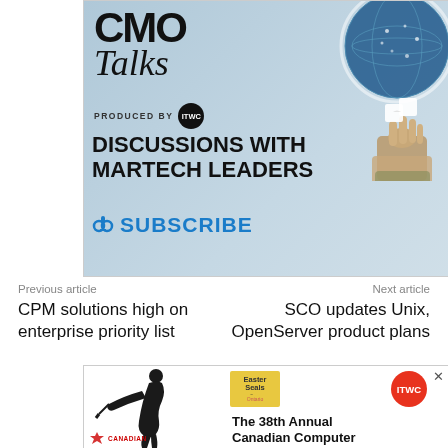[Figure (illustration): CMO Talks podcast advertisement: light blue background with globe and hand holding puzzle pieces. Text reads 'CMO Talks, PRODUCED BY ITWC, DISCUSSIONS WITH MARTECH LEADERS, SUBSCRIBE']
Previous article
Next article
CPM solutions high on enterprise priority list
SCO updates Unix, OpenServer product plans
[Figure (illustration): The 38th Annual Canadian Computer advertisement featuring a golfer silhouette, Easter Seals Ontario logo, ITWC red circle logo, and Canadian logo]